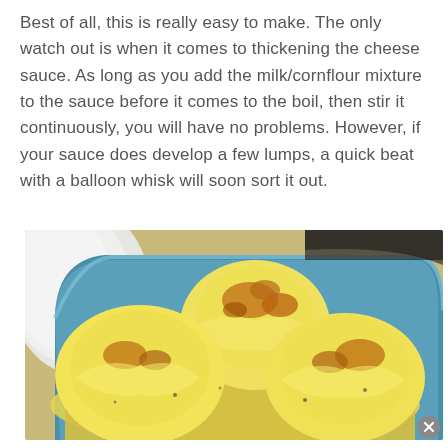Best of all, this is really easy to make. The only watch out is when it comes to thickening the cheese sauce. As long as you add the milk/cornflour mixture to the sauce before it comes to the boil, then stir it continuously, you will have no problems. However, if your sauce does develop a few lumps, a quick beat with a balloon whisk will soon sort it out.
[Figure (photo): A blue ceramic baking dish containing cauliflower florets covered in a golden, partially browned cheese sauce. White plates are visible in the background.]